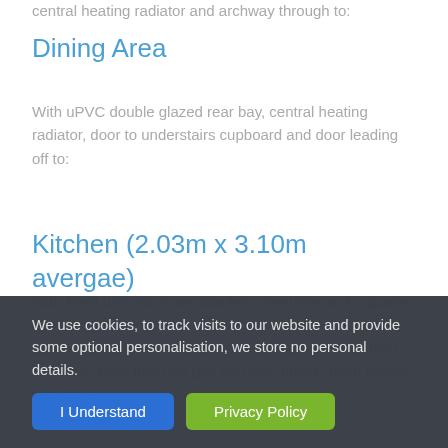central heating radiator and archway through to:
Dining Area
With uPVC double glazed rear bay, central heating radiator, door to understairs cupboard and door leading off to:
Kitchen (2.03m x 3.10m avergae)
With fitted unit with inset stainless steel one and a quarter bowl single drainer sink unit with mixer tap, double door base cupboard below, space and plumbing for washing machine, inset four ring gas hob with built-in oven below, with fitted
We use cookies, to track visits to our website and provide some optional personalisation, we store no personal details.